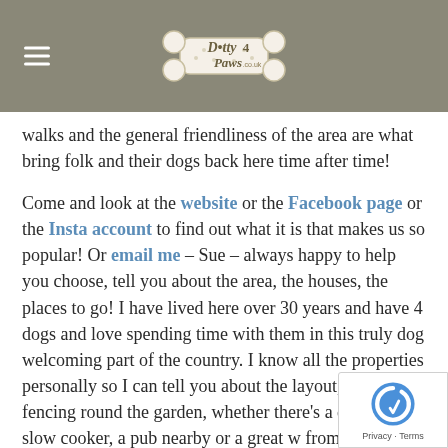Dotty4Paws.co.uk
walks and the general friendliness of the area are what bring folk and their dogs back here time after time!
Come and look at the website or the Facebook page or the Insta account to find out what it is that makes us so popular! Or email me – Sue – always happy to help you choose, tell you about the area, the houses, the places to go! I have lived here over 30 years and have 4 dogs and love spending time with them in this truly dog welcoming part of the country. I know all the properties personally so I can tell you about the layout, the fencing round the garden, whether there's a crate or a slow cooker, a pub nearby or a great w from the door.